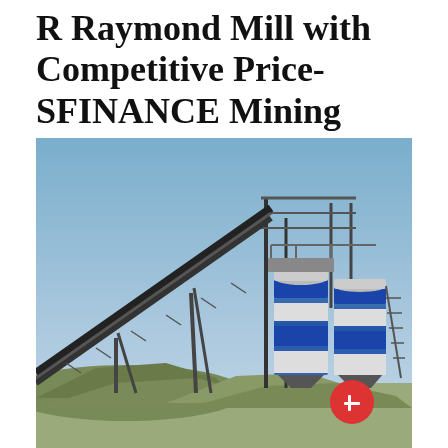R Raymond Mill with Competitive Price- SFINANCE Mining machine
[Figure (photo): Industrial mining facility photo showing a conveyor belt system on the left angled diagonally, two large blue-and-white cylindrical silos/tanks on the right with metal framework, and piles of aggregate/gravel at the base. Sky is light blue in the background.]